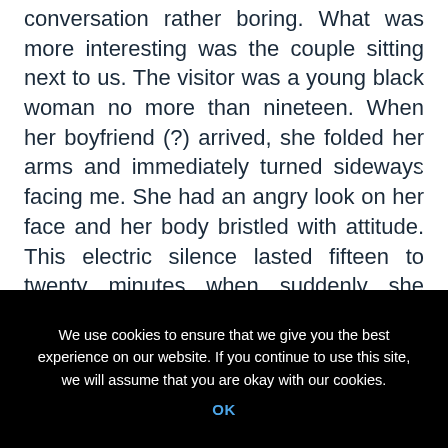conversation rather boring. What was more interesting was the couple sitting next to us. The visitor was a young black woman no more than nineteen. When her boyfriend (?) arrived, she folded her arms and immediately turned sideways facing me. She had an angry look on her face and her body bristled with attitude. This electric silence lasted fifteen to twenty minutes when suddenly she turned to face him and
We use cookies to ensure that we give you the best experience on our website. If you continue to use this site, we will assume that you are okay with our cookies.
OK